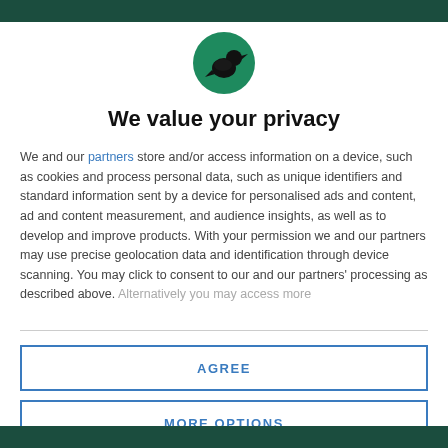[Figure (logo): Circular green logo with a black silhouette of a bird (raven/crow) facing right]
We value your privacy
We and our partners store and/or access information on a device, such as cookies and process personal data, such as unique identifiers and standard information sent by a device for personalised ads and content, ad and content measurement, and audience insights, as well as to develop and improve products. With your permission we and our partners may use precise geolocation data and identification through device scanning. You may click to consent to our and our partners' processing as described above. Alternatively you may access more
AGREE
MORE OPTIONS